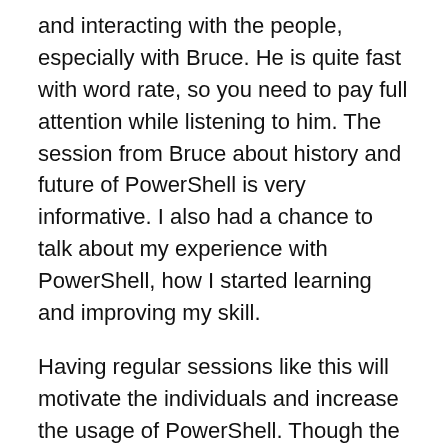and interacting with the people, especially with Bruce. He is quite fast with word rate, so you need to pay full attention while listening to him. The session from Bruce about history and future of PowerShell is very informative. I also had a chance to talk about my experience with PowerShell, how I started learning and improving my skill.
Having regular sessions like this will motivate the individuals and increase the usage of PowerShell. Though the attendance is a bit on lower side for this event, I am sure the next events will be crowded and much more interactive.
Harshul Patel is the man behind this. Though he joined Microsoft a few weeks back, he make everything happen right from inviting Bruce, arranging the venue and organizing the whole event. Thanks Harshul for interest and commitment towards the event. Wish to see to much more coming in future. Btw, I liked your Book,